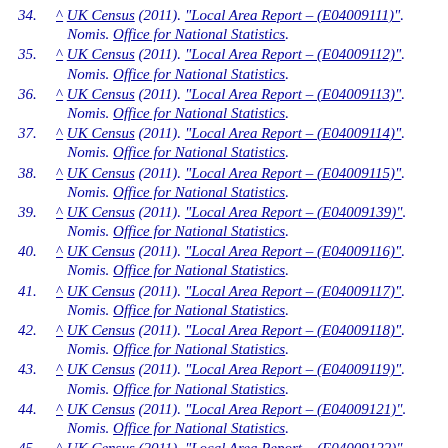34. ^ UK Census (2011). "Local Area Report – (E04009111)". Nomis. Office for National Statistics.
35. ^ UK Census (2011). "Local Area Report – (E04009112)". Nomis. Office for National Statistics.
36. ^ UK Census (2011). "Local Area Report – (E04009113)". Nomis. Office for National Statistics.
37. ^ UK Census (2011). "Local Area Report – (E04009114)". Nomis. Office for National Statistics.
38. ^ UK Census (2011). "Local Area Report – (E04009115)". Nomis. Office for National Statistics.
39. ^ UK Census (2011). "Local Area Report – (E04009139)". Nomis. Office for National Statistics.
40. ^ UK Census (2011). "Local Area Report – (E04009116)". Nomis. Office for National Statistics.
41. ^ UK Census (2011). "Local Area Report – (E04009117)". Nomis. Office for National Statistics.
42. ^ UK Census (2011). "Local Area Report – (E04009118)". Nomis. Office for National Statistics.
43. ^ UK Census (2011). "Local Area Report – (E04009119)". Nomis. Office for National Statistics.
44. ^ UK Census (2011). "Local Area Report – (E04009121)". Nomis. Office for National Statistics.
45. ^ UK Census (2011). "Local Area Report – (E04009122)". Nomis. Office for National Statistics.
46. ^ UK Census (2011). "Local Area Report – (E04009123)".